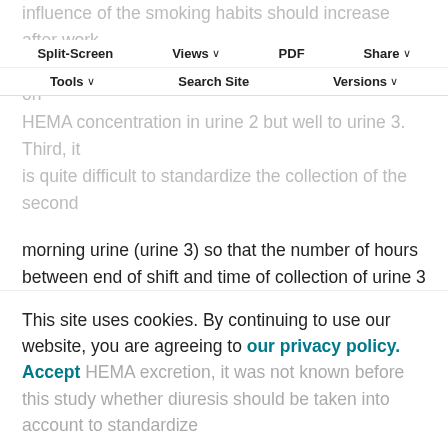influence of the smoking habits should increase after work. This would explain why smoking had no influence on HEMA concentration in urine 2 but well to urine 3. Third, it is quite difficult to standardize the collection of the second
Split-Screen | Views | PDF | Share | Tools | Search Site | Versions
morning urine (urine 3) so that the number of hours between end of shift and time of collection of urine 3 is the same in every subject even in case of shift work. The resulting imperfect standardization could explain the significant influence of the factor “shift” and lead to misclassifications explaining the absence of correlation between exposure and HEMA in urine 3. In any case, collection of urine 3 seems to be more complicated to do without having practical advantages for biological
This site uses cookies. By continuing to use our website, you are agreeing to our privacy policy. Accept HEMA excretion, it was not known before this study whether diuresis should be taken into account to standardize
HEMA excretion, it was not known before this study whether diuresis should be taken into account to standardize